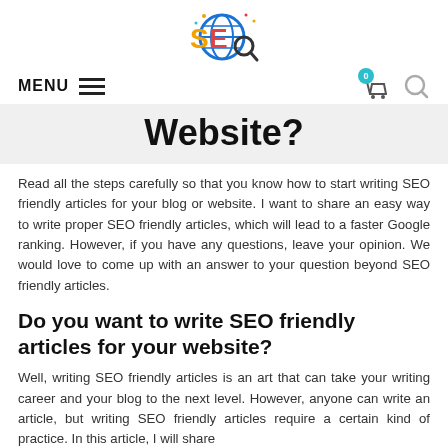[Figure (logo): SEO logo with globe and magnifying glass icon, colorful text reading SEO]
MENU [hamburger icon] [cart icon with badge 0] [search icon]
Website?
Read all the steps carefully so that you know how to start writing SEO friendly articles for your blog or website. I want to share an easy way to write proper SEO friendly articles, which will lead to a faster Google ranking. However, if you have any questions, leave your opinion. We would love to come up with an answer to your question beyond SEO friendly articles.
Do you want to write SEO friendly articles for your website?
Well, writing SEO friendly articles is an art that can take your writing career and your blog to the next level. However, anyone can write an article, but writing SEO friendly articles require a certain kind of practice. In this article, I will share